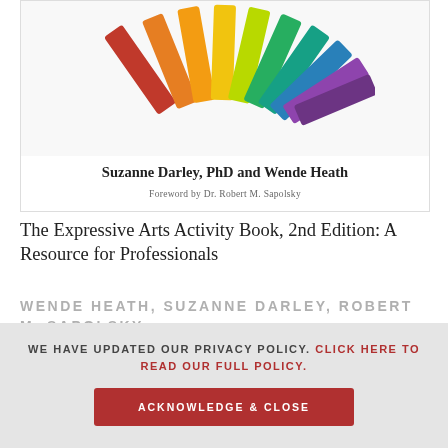[Figure (photo): Book cover showing colorful chalk sticks arranged in a fan pattern on a white background, with author names and foreword credit below the image]
The Expressive Arts Activity Book, 2nd Edition: A Resource for Professionals
WENDE HEATH, SUZANNE DARLEY, ROBERT M. SAPOLSKY
JESSICA KINGSLEY PUBLISHERS
WE HAVE UPDATED OUR PRIVACY POLICY. CLICK HERE TO READ OUR FULL POLICY.
ACKNOWLEDGE & CLOSE